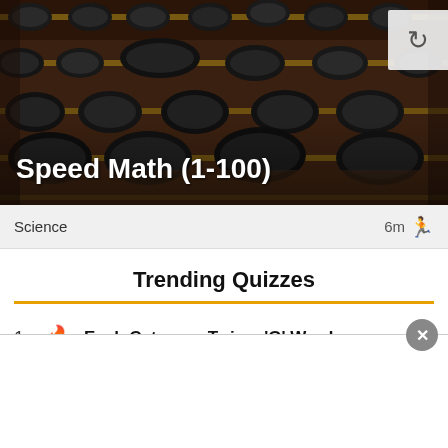[Figure (photo): Close-up photograph of an abacus with dark beads on wooden rods, brownish-red frame]
Speed Math (1-100)
Science   6m 🏃
Trending Quizzes
1 🔥 Each Category Twice: 'G' Words